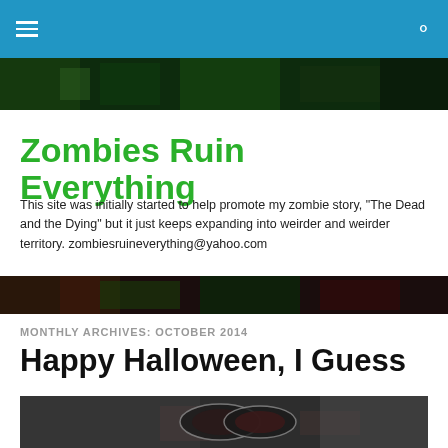Zombies Ruin Everything
Zombies Ruin Everything
This site was initially started to help promote my zombie story, "The Dead and the Dying" but it just keeps expanding into weirder and weirder territory. zombiesruineverything@yahoo.com
MONTHLY ARCHIVES: OCTOBER 2014
Happy Halloween, I Guess
[Figure (photo): Close-up photo of a person wearing steampunk-style goggles or optometry trial frames, with dark moody lighting, face partially visible]